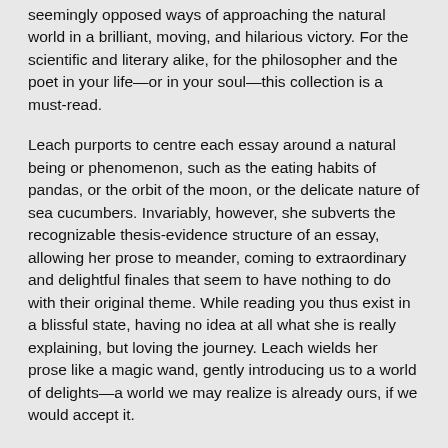seemingly opposed ways of approaching the natural world in a brilliant, moving, and hilarious victory. For the scientific and literary alike, for the philosopher and the poet in your life—or in your soul—this collection is a must-read.
Leach purports to centre each essay around a natural being or phenomenon, such as the eating habits of pandas, or the orbit of the moon, or the delicate nature of sea cucumbers. Invariably, however, she subverts the recognizable thesis-evidence structure of an essay, allowing her prose to meander, coming to extraordinary and delightful finales that seem to have nothing to do with their original theme. While reading you thus exist in a blissful state, having no idea at all what she is really explaining, but loving the journey. Leach wields her prose like a magic wand, gently introducing us to a world of delights—a world we may realize is already ours, if we would accept it.
In the wonderful essay 'Pea Madness,' for example, Leach explains the search of a pea plant's feelers for a lattice. As she dutifully explains, 'You can only look for so long before your looking apparatus topples you over.' This wisdom is, just like the entire essay, entirely true for peas. And yet somehow it is